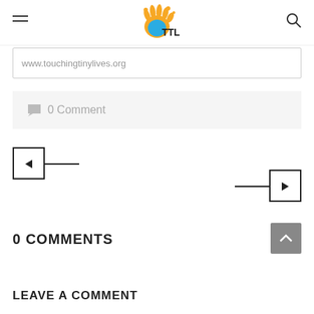TTL - Touching Tiny Lives
www.touchingtinylives.org
0 Comment
[Figure (other): Previous post navigation arrow button (left arrow with square)]
[Figure (other): Next post navigation arrow button (right arrow with square)]
0 COMMENTS
[Figure (other): Back to top button with upward chevron]
LEAVE A COMMENT